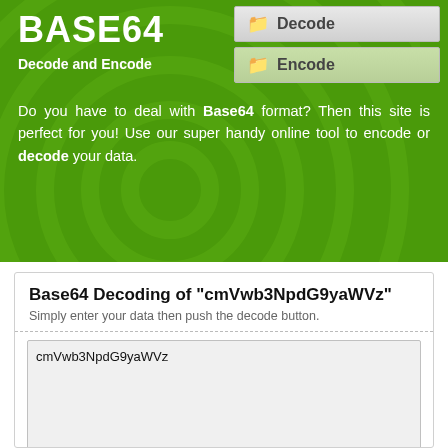BASE64
Decode and Encode
[Figure (screenshot): Decode navigation button with folder icon]
[Figure (screenshot): Encode navigation button with folder icon]
Do you have to deal with Base64 format? Then this site is perfect for you! Use our super handy online tool to encode or decode your data.
Base64 Decoding of "cmVwb3NpdG9yaWVz"
Simply enter your data then push the decode button.
cmVwb3NpdG9yaWVz